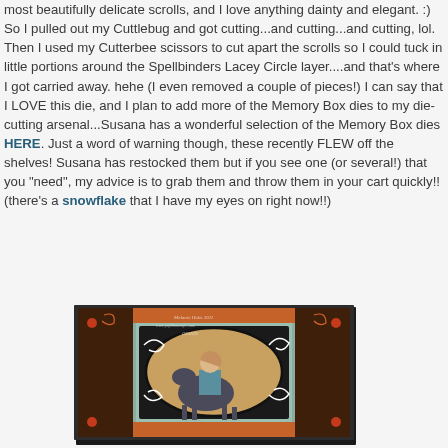most beautifully delicate scrolls, and I love anything dainty and elegant. :)  So I pulled out my Cuttlebug and got cutting...and cutting...and cutting, lol. Then I used my Cutterbee scissors to cut apart the scrolls so I could tuck in little portions around the Spellbinders Lacey Circle layer....and that's where I got carried away. hehe (I even removed a couple of pieces!) I can say that I LOVE this die, and I plan to add more of the Memory Box dies to my die-cutting arsenal...Susana has a wonderful selection of the Memory Box dies HERE. Just a word of warning though, these recently FLEW off the shelves! Susana has restocked them but if you see one (or several!) that you "need", my advice is to grab them and throw them in your cart quickly!! (there's a snowflake that I have my eyes on right now!!)
[Figure (photo): A handmade greeting card featuring a girl riding a rocking horse, surrounded by decorative scrollwork and patterned border in teal, orange, black, and gold tones. The card has layered elements with a circular center panel.]